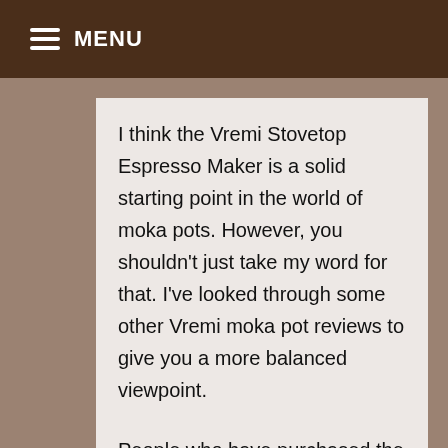MENU
I think the Vremi Stovetop Espresso Maker is a solid starting point in the world of moka pots. However, you shouldn’t just take my word for that. I’ve looked through some other Vremi moka pot reviews to give you a more balanced viewpoint.
People who have purchased the Vremi Moka Pot recognize it for what it is — an affordably priced moka pot that does a decent job of brewing coffee. Most users are pleased with their purchase